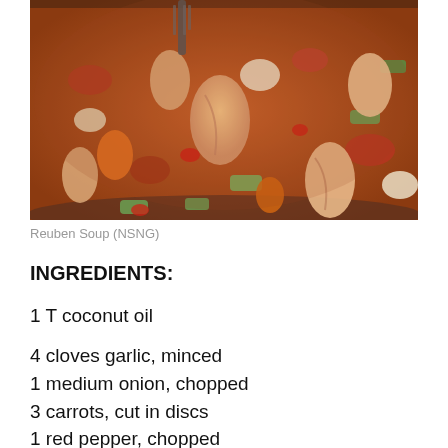[Figure (photo): A bowl of Reuben Soup (NSNG) with shrimp, zucchini, carrots, red peppers, onions in a tomato-based broth, with a fork visible at the top.]
Reuben Soup (NSNG)
INGREDIENTS:
1 T coconut oil
4 cloves garlic, minced
1 medium onion, chopped
3 carrots, cut in discs
1 red pepper, chopped